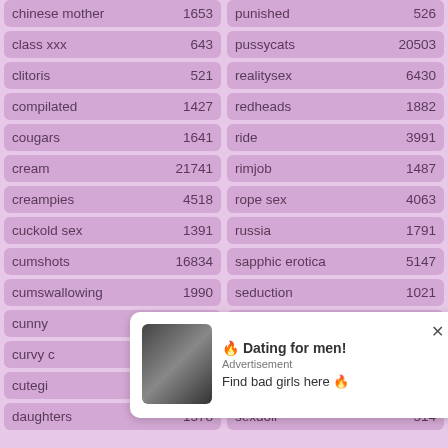chinese mother 1653
punished 526
class xxx 643
pussycats 20503
clitoris 521
realitysex 6430
compilated 1427
redheads 1882
cougars 1641
ride 3991
cream 21741
rimjob 1487
creampies 4518
rope sex 4063
cuckold sex 1391
russia 1791
cumshots 16834
sapphic erotica 5147
cumswallowing 1990
seduction 1021
cunny 1260
sensual babe 1096
curvy c... 6315
cutegi... 831
daughters 1578
sexdoll 514
🔥 Dating for men! Advertisement Find bad girls here 🔥